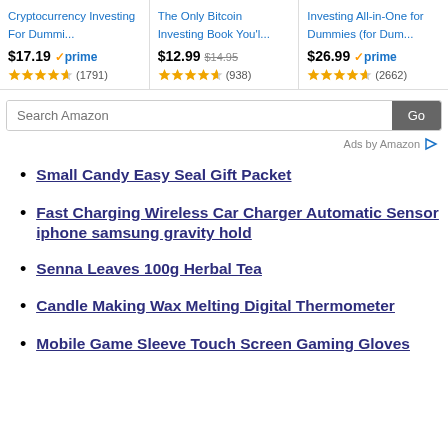[Figure (screenshot): Amazon ad banner with three book products: Cryptocurrency Investing For Dummi... ($17.19, prime, 4.5 stars, 1791 reviews), The Only Bitcoin Investing Book You'l... ($12.99 strikethrough $14.95, 4.5 stars, 938 reviews), Investing All-in-One for Dummies (for Dum... ($26.99, prime, 4.5 stars, 2662 reviews)]
[Figure (screenshot): Search Amazon input field with Go button]
Ads by Amazon
Small Candy Easy Seal Gift Packet
Fast Charging Wireless Car Charger Automatic Sensor iphone samsung gravity hold
Senna Leaves 100g Herbal Tea
Candle Making Wax Melting Digital Thermometer
Mobile Game Sleeve Touch Screen Gaming Gloves